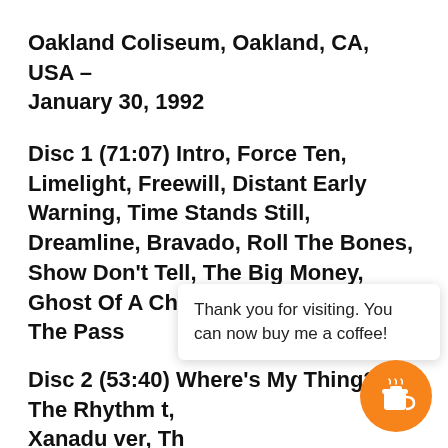Oakland Coliseum, Oakland, CA, USA – January 30, 1992
Disc 1 (71:07) Intro, Force Ten, Limelight, Freewill, Distant Early Warning, Time Stands Still, Dreamline, Bravado, Roll The Bones, Show Don't Tell, The Big Money, Ghost Of A Chance, Subdivisions, The Pass
Disc 2 (53:40) Where's My Thing?, The Rhythm [partially obscured], Xanadu [partially obscured], Spirit Of [partially obscured], Way, La Villa Strangiato, Anthem, Red [cut off]